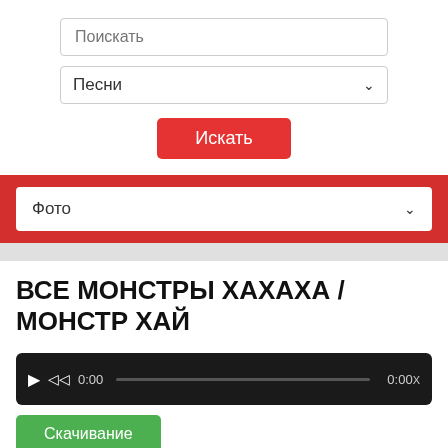[Figure (screenshot): Search input field with placeholder text 'Поискать']
[Figure (screenshot): Dropdown selector showing 'Песни' with chevron arrow]
[Figure (screenshot): Red search button labeled 'Искать']
[Figure (screenshot): Red bar with white dropdown showing 'Фото' with chevron arrow]
ВСЕ МОНСТРЫ ХАХАХА / МОНСТР ХАЙ
[Figure (screenshot): Audio player bar with play button, rewind button, time 0:00, progress bar, and end time 0:00X]
[Figure (screenshot): Green download button labeled 'Скачивание']